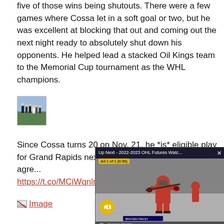five of those wins being shutouts. There were a few games where Cossa let in a soft goal or two, but he was excellent at blocking that out and coming out the next night ready to absolutely shut down his opponents. He helped lead a stacked Oil Kings team to the Memorial Cup tournament as the WHL champions.
[Figure (photo): Small thumbnail photo showing people outdoors, appears to be a group in formal wear on grass]
Since Cossa turns 20 on Nov. 21, he *is* eligible play for Grand Rapids next seas... NHL-CHL transfer agre...
https://t.co/MCiWqnlm...
[Figure (screenshot): Video overlay popup showing 'Up Next - 2022-2023 OHL Futures Watc...' with an Ad 1 of 1 (0:30) label, hockey player video content, mute button, and bottom bar]
[Figure (photo): Broken image placeholder labeled 'Image' with link styling]